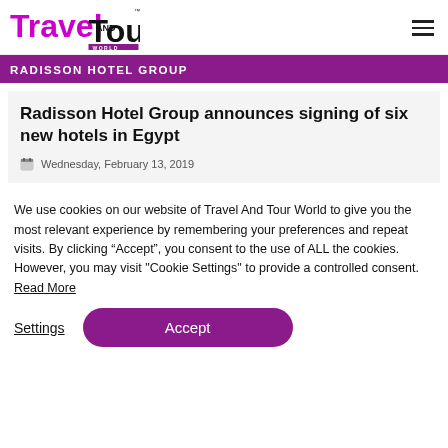Travel And Tour World
RADISSON HOTEL GROUP
Radisson Hotel Group announces signing of six new hotels in Egypt
Wednesday, February 13, 2019
We use cookies on our website of Travel And Tour World to give you the most relevant experience by remembering your preferences and repeat visits. By clicking “Accept”, you consent to the use of ALL the cookies. However, you may visit "Cookie Settings" to provide a controlled consent. Read More
Settings
Accept